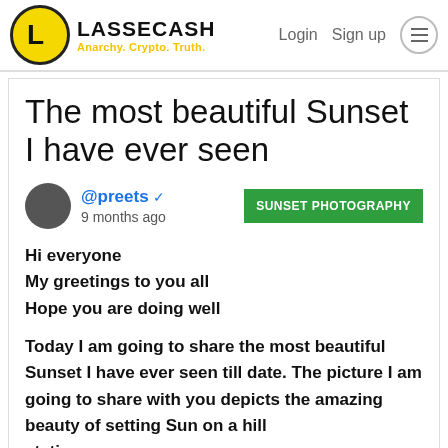LASSECASH — Anarchy. Crypto. Truth. | Login | Sign up
The most beautiful Sunset I have ever seen
@preets ✓  9 months ago   SUNSET PHOTOGRAPHY
Hi everyone
My greetings to you all
Hope you are doing well

Today I am going to share the most beautiful Sunset I have ever seen till date. The picture I am going to share with you depicts the amazing beauty of setting Sun on a hill station